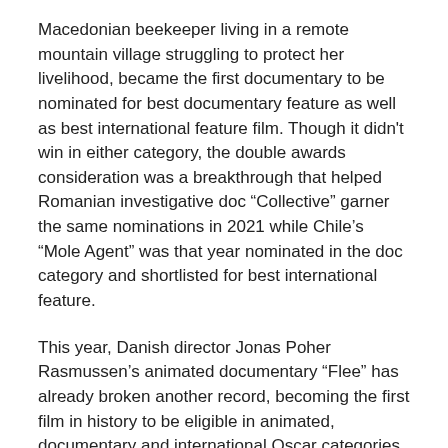Macedonian beekeeper living in a remote mountain village struggling to protect her livelihood, became the first documentary to be nominated for best documentary feature as well as best international feature film. Though it didn't win in either category, the double awards consideration was a breakthrough that helped Romanian investigative doc “Collective” garner the same nominations in 2021 while Chile’s “Mole Agent” was that year nominated in the doc category and shortlisted for best international feature.
This year, Danish director Jonas Poher Rasmussen’s animated documentary “Flee” has already broken another record, becoming the first film in history to be eligible in animated, documentary and international Oscar categories. (It recently made the documentary and international shortlists).